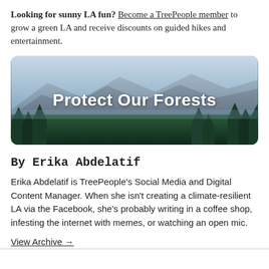Looking for sunny LA fun? Become a TreePeople member to grow a green LA and receive discounts on guided hikes and entertainment.
[Figure (photo): A scenic mountain forest landscape banner with the text 'Protect Our Forests' overlaid in white bold text. Mountains, sky, and dense coniferous trees visible.]
By Erika Abdelatif
Erika Abdelatif is TreePeople's Social Media and Digital Content Manager. When she isn't creating a climate-resilient LA via the Facebook, she's probably writing in a coffee shop, infesting the internet with memes, or watching an open mic.
View Archive →